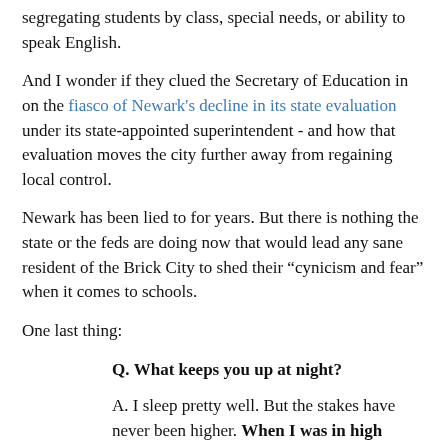segregating students by class, special needs, or ability to speak English.
And I wonder if they clued the Secretary of Education in on the fiasco of Newark's decline in its state evaluation under its state-appointed superintendent - and how that evaluation moves the city further away from regaining local control.
Newark has been lied to for years. But there is nothing the state or the feds are doing now that would lead any sane resident of the Brick City to shed their "cynicism and fear" when it comes to schools.
One last thing:
Q. What keeps you up at night?
A. I sleep pretty well. But the stakes have never been higher. When I was in high school in the South Side of Chicago, my friends could drop out and get a decent job in the stockyards or steel mills, and own their own home and support a family. Those jobs are gone and they're never coming back. If you drop out today you are condemned to